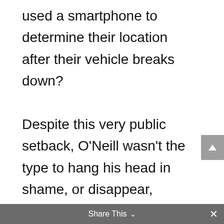used a smartphone to determine their location after their vehicle breaks down?

Despite this very public setback, O'Neill wasn't the type to hang his head in shame, or disappear, evading questions; Coyne would remark in his tribute, “He also showed me repeatedly how to keep organized and collected under fire, and how to bounce back from personal or scientific setbacks. (When a physics experiment was in crisis, and we were all losing our heads, Gerry would sit down at the lab desk and start squaring up the papers and pencils, getting his mind disciplined for the ordered dispatch of our
Share This ∨  ×